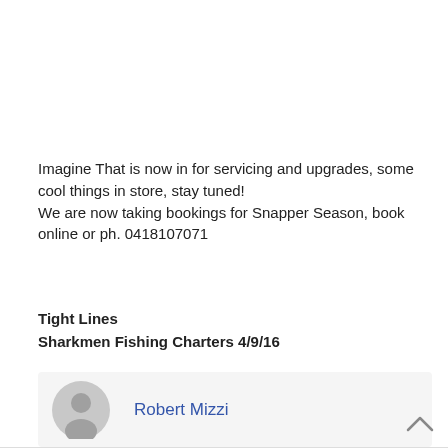Imagine That is now in for servicing and upgrades, some cool things in store, stay tuned!
We are now taking bookings for Snapper Season, book online or ph. 0418107071
Tight Lines
Sharkmen Fishing Charters 4/9/16
Robert Mizzi